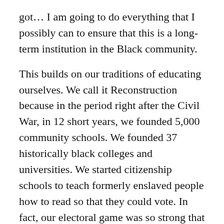got… I am going to do everything that I possibly can to ensure that this is a long-term institution in the Black community.
This builds on our traditions of educating ourselves. We call it Reconstruction because in the period right after the Civil War, in 12 short years, we founded 5,000 community schools. We founded 37 historically black colleges and universities. We started citizenship schools to teach formerly enslaved people how to read so that they could vote. In fact, our electoral game was so strong that 500,000 black people voted. (And, Ulysses S. Grant only won the Presidency by 300,000 votes during his election cycle back then!)
We have a tradition of building community and